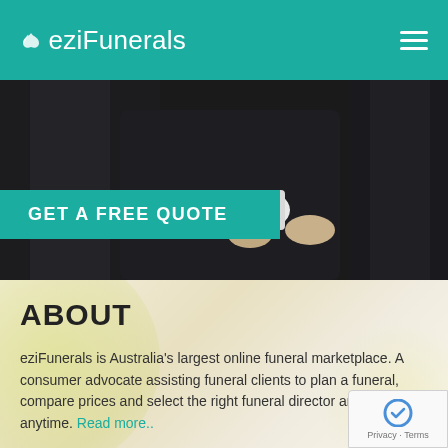eziFunerals
[Figure (screenshot): Hero image of two people in dark suits shaking hands, partially visible. A teal 'GET A FREE QUOTE' button overlaid on the left side of the image.]
GET A FREE QUOTE
ABOUT
eziFunerals is Australia's largest online funeral marketplace. A consumer advocate assisting funeral clients to plan a funeral, compare prices and select the right funeral director anywhere, anytime. Read more..